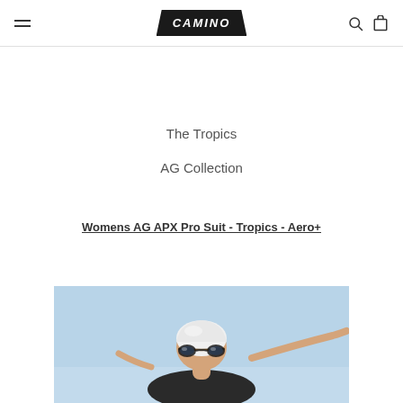CAMINO
The Tropics
AG Collection
Womens AG APX Pro Suit - Tropics - Aero+
[Figure (photo): Photo of a female swimmer wearing a white swim cap and swim goggles, photographed from below against a light blue sky background.]